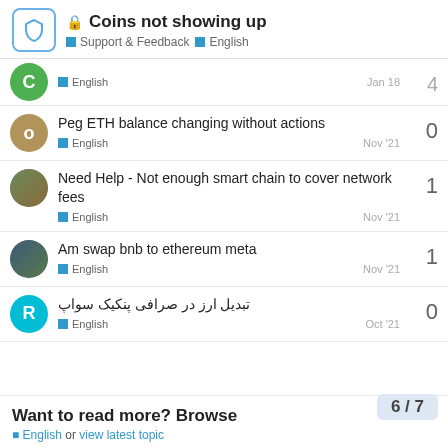Coins not showing up — Support & Feedback — English
Peg ETH balance changing without actions — English — Nov '21 — 0
Need Help - Not enough smart chain to cover network fees — English — Nov '21 — 1
Am swap bnb to ethereum meta — English — Nov '21 — 1
تبدیل ارز در صرافی پنکیک سواپ — English — Oct '21 — 0
Want to read more? Browse
6 / 7
English or view latest topic